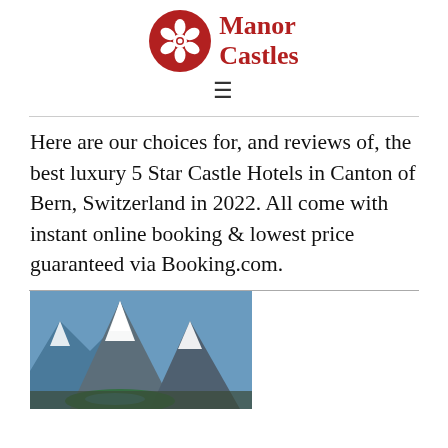Manor Castles
Here are our choices for, and reviews of, the best luxury 5 Star Castle Hotels in Canton of Bern, Switzerland in 2022. All come with instant online booking & lowest price guaranteed via Booking.com.
[Figure (photo): Mountain landscape with snow-capped peaks and a lake in the foreground, likely in the Swiss Alps, Canton of Bern area.]